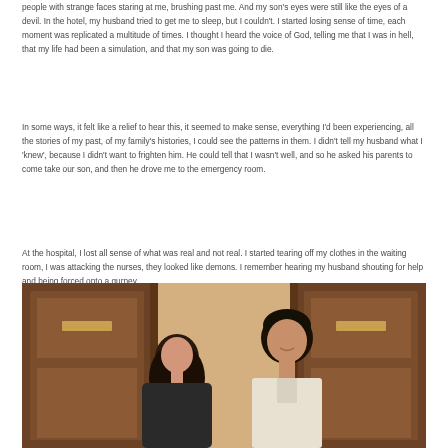people with strange faces staring at me, brushing past me. And my son's eyes were still like the eyes of a devil. In the hotel, my husband tried to get me to sleep, but I couldn't. I started losing sense of time, each moment was replicated a multitude of times. I thought I heard the voice of God, telling me that I was in hell, that my life had been a simulation, and that my son was going to die.
In some ways, it felt like a relief to hear this, it seemed to make sense, everything I'd been experiencing, all the stories of my past, of my family's histories, I could see the patterns in them. I didn't tell my husband what I 'knew', because I didn't want to frighten him. He could tell that I wasn't well, and so he asked his parents to come take our son, and then he drove me to the emergency room.
At the hospital, I lost all sense of what was real and not real. I started tearing off my clothes in the waiting room, I was attacking the nurses, they looked like demons. I remember hearing my husband shouting for help and being forced onto a gurney.
[Figure (photo): A photo of a couple, a woman with dark hair and a man with short dark hair, taken indoors near wooden doors with a warm-toned wall behind them.]